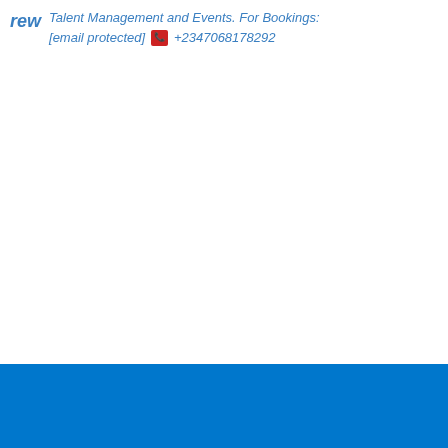Talent Management and Events. For Bookings: [email protected]  +2347068178292